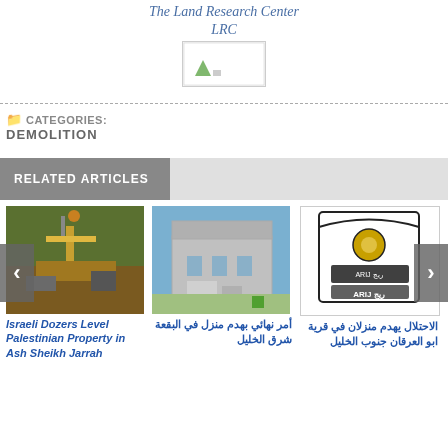The Land Research Center LRC
[Figure (logo): LRC logo image placeholder]
CATEGORIES: DEMOLITION
RELATED ARTICLES
[Figure (photo): Israeli dozer demolishing Palestinian property in Ash Sheikh Jarrah]
Israeli Dozers Level Palestinian Property in Ash Sheikh Jarrah
[Figure (photo): Building in Al-Buq'a east of Hebron subject to demolition order]
أمر نهائي بهدم منزل في البقعة شرق الخليل
[Figure (logo): ARIJ organization logo]
الاحتلال يهدم منزلان في قرية ابو العرقان جنوب الخليل